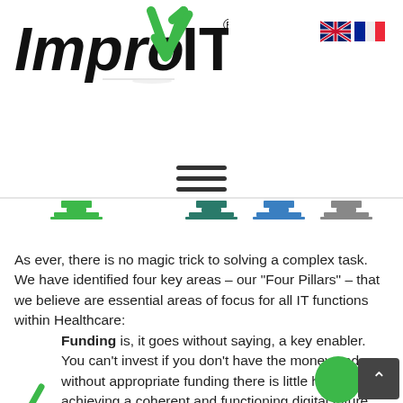[Figure (logo): ImprovIT logo with green checkmark replacing the letter V, followed by IT and registered trademark symbol]
[Figure (illustration): UK and French flag icons for language selection]
[Figure (infographic): Hamburger menu icon (three horizontal lines) above a row of four pillar icons in green, teal, blue, and gray colors]
As ever, there is no magic trick to solving a complex task. We have identified four key areas – our “Four Pillars” – that we believe are essential areas of focus for all IT functions within Healthcare:
Funding is, it goes without saying, a key enabler. You can’t invest if you don’t have the money and without appropriate funding there is little hope of achieving a coherent and functioning digital future. Maximise…